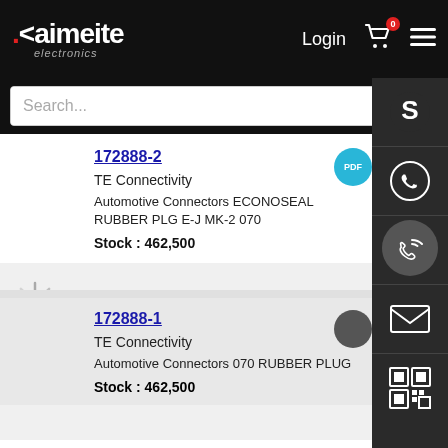[Figure (screenshot): Kaimeite Electronics website header with logo, Login, cart icon with badge 0, and hamburger menu on black background]
[Figure (screenshot): Search bar with placeholder text 'Search...' and red search button with magnifying glass icon]
172888-2
TE Connectivity
Automotive Connectors ECONOSEAL RUBBER PLG E-J MK-2 070
Stock : 462,500
172888-1
TE Connectivity
Automotive Connectors 070 RUBBER PLUG
Stock : 462,500
15366022